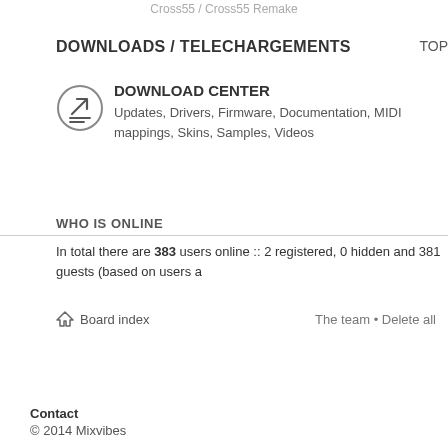Cross55 / Cross55 Remake
DOWNLOADS / TELECHARGEMENTS
TOP
[Figure (illustration): Circle icon with an upward arrow and horizontal lines beneath it, representing a download center symbol]
DOWNLOAD CENTER
Updates, Drivers, Firmware, Documentation, MIDI mappings, Skins, Samples, Videos
WHO IS ONLINE
In total there are 383 users online :: 2 registered, 0 hidden and 381 guests (based on users a
Board index
The team • Delete all
Contact
© 2014 Mixvibes